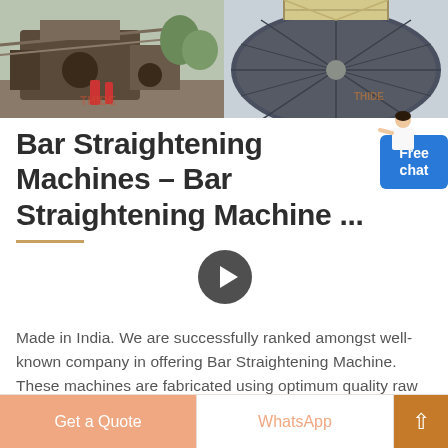[Figure (photo): Two product photos side by side: left shows industrial bar straightening machine equipment outdoors, right shows a large circular disc/thickener machine from above with THIDE branding]
Bar Straightening Machines - Bar Straightening Machine ...
Made in India. We are successfully ranked amongst well-known company in offering Bar Straightening Machine. These machines are fabricated using optimum quality raw material under the supervision of our experienced professionals. We offer Bar Straightening Machine to our
Get a Quote  WhatsApp  ↑